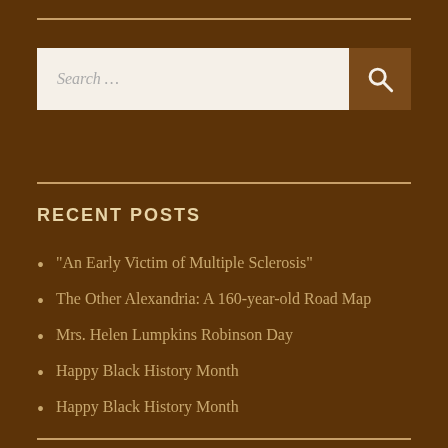[Figure (other): Search input box with placeholder text 'Search ...' and a brown search button with magnifying glass icon]
RECENT POSTS
“An Early Victim of Multiple Sclerosis”
The Other Alexandria: A 160-year-old Road Map
Mrs. Helen Lumpkins Robinson Day
Happy Black History Month
Happy Black History Month